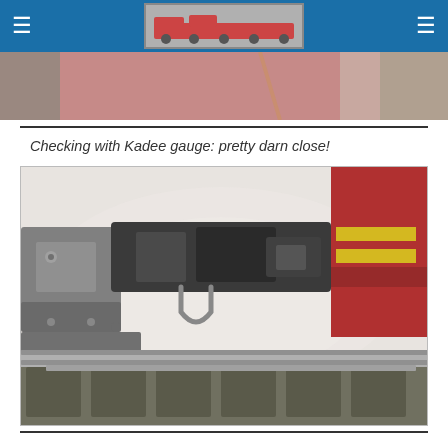[Figure (photo): Partial view of a train photo used as header/logo image showing red and silver locomotives lined up at a station]
[Figure (photo): Close-up photo (partially cropped at top) of model railroad coupling mechanism, showing red and tan car sides]
Checking with Kadee gauge: pretty darn close!
[Figure (photo): Close-up photo of model railroad Kadee coupler being checked with a gauge tool, showing the coupler knuckle, gauge device, track, and partial view of a red freight car with yellow stripes on the right side]